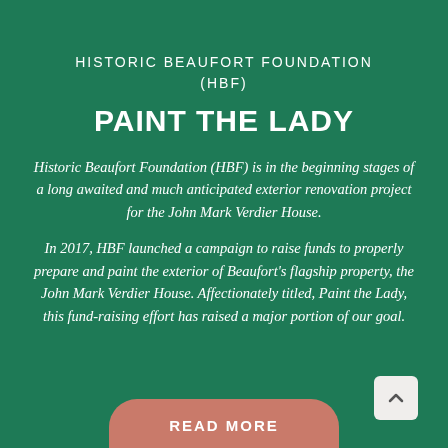HISTORIC BEAUFORT FOUNDATION (HBF)
PAINT THE LADY
Historic Beaufort Foundation (HBF) is in the beginning stages of a long awaited and much anticipated exterior renovation project for the John Mark Verdier House.
In 2017, HBF launched a campaign to raise funds to properly prepare and paint the exterior of Beaufort's flagship property, the John Mark Verdier House. Affectionately titled, Paint the Lady, this fund-raising effort has raised a major portion of our goal.
READ MORE